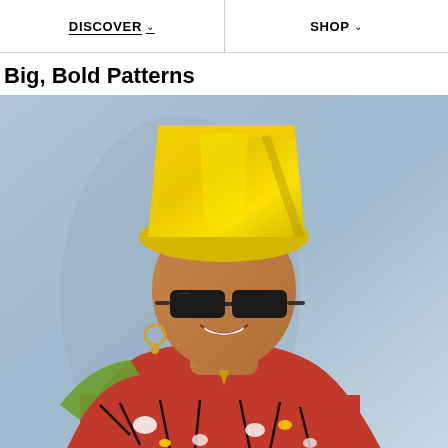DISCOVER  SHOP
Big, Bold Patterns
[Figure (photo): A woman wearing a large bright yellow satin hat/headpiece and dark sunglasses, smiling. She is wearing a bold red and black African-print patterned top with white and yellow accents, gold hoop earrings and a gold necklace with a pendant. The background is a soft light blue-grey gradient.]